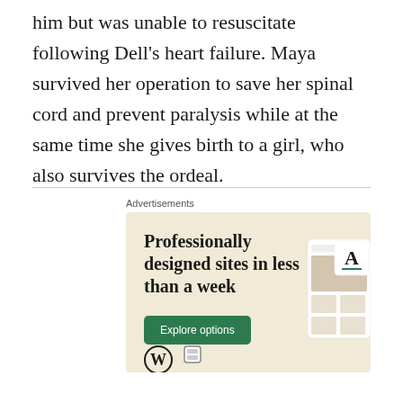him but was unable to resuscitate following Dell's heart failure. Maya survived her operation to save her spinal cord and prevent paralysis while at the same time she gives birth to a girl, who also survives the ordeal.
[Figure (other): WordPress advertisement: 'Professionally designed sites in less than a week' with green 'Explore options' button, WordPress logo, and website mockup screenshots on beige background.]
Advertisements